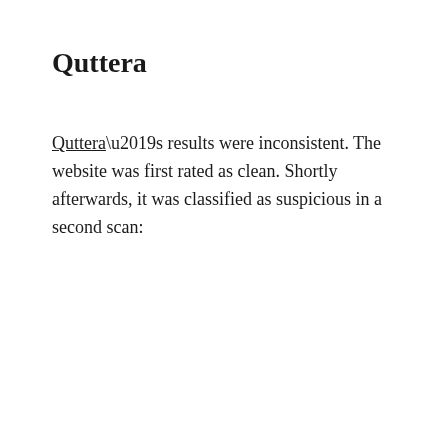Quttera
Quttera’s results were inconsistent. The website was first rated as clean. Shortly afterwards, it was classified as suspicious in a second scan: